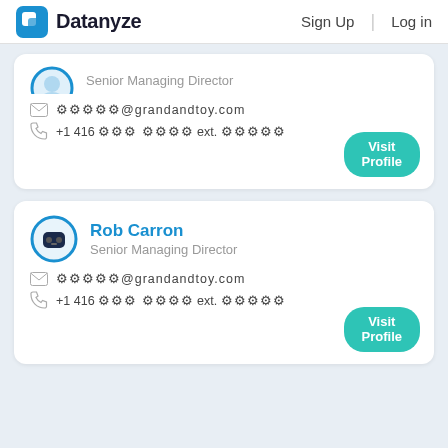Datanyze | Sign Up | Log in
Senior Managing Director
⚙⚙⚙⚙⚙@grandandtoy.com
+1 416 ⚙⚙⚙ ⚙⚙⚙⚙ ext. ⚙⚙⚙⚙⚙
Visit Profile
Rob Carron
Senior Managing Director
⚙⚙⚙⚙⚙@grandandtoy.com
+1 416 ⚙⚙⚙ ⚙⚙⚙⚙ ext. ⚙⚙⚙⚙⚙
Visit Profile